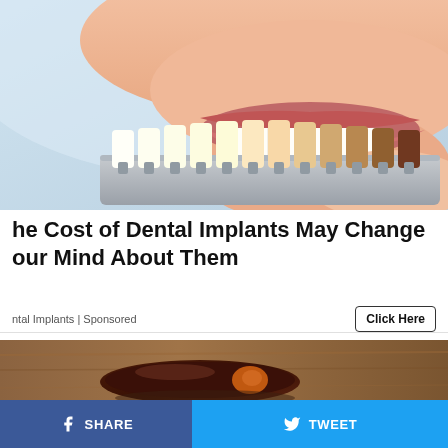[Figure (photo): Close-up of a woman smiling holding a dental shade guide with multiple tooth-colored samples against her teeth]
he Cost of Dental Implants May Change our Mind About Them
ntal Implants | Sponsored
[Figure (photo): Close-up photo of a dark glazed food item (possibly a date or dried fruit) on a wooden surface]
SHARE   TWEET   ...